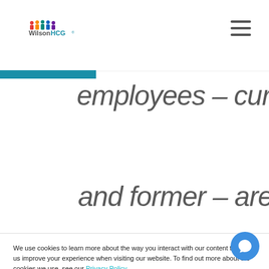WilsonHCG logo and navigation
find and remember, all employees – current and former – are
We use cookies to learn more about the way you interact with our content to help us improve your experience when visiting our website. To find out more about the cookies we use, see our Privacy Policy.
We will not use cookies to collect personally identifiable information about you. Please let us if you agree to the use of these cookies by clicking "Accept" below.
Accept | Decline